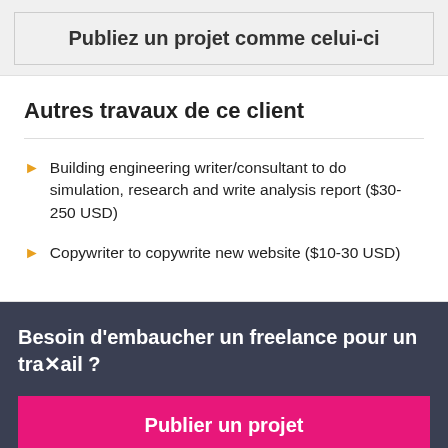Publiez un projet comme celui-ci
Autres travaux de ce client
Building engineering writer/consultant to do simulation, research and write analysis report ($30-250 USD)
Copywriter to copywrite new website ($10-30 USD)
Besoin d'embaucher un freelance pour un travail ?
Publier un projet